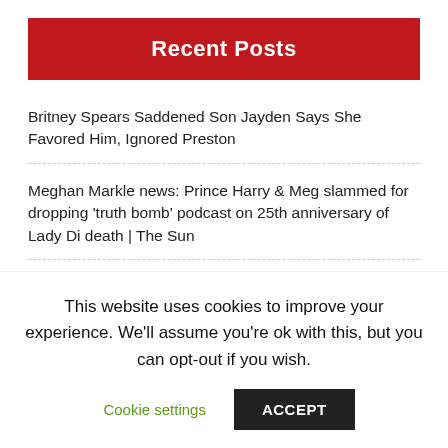Recent Posts
Britney Spears Saddened Son Jayden Says She Favored Him, Ignored Preston
Meghan Markle news: Prince Harry & Meg slammed for dropping 'truth bomb' podcast on 25th anniversary of Lady Di death | The Sun
Cate Blanchett, 53, stuns in skin-tight leather trousers in Venice
Chanté Joseph reveals the reality of living with ADHD
This website uses cookies to improve your experience. We'll assume you're ok with this, but you can opt-out if you wish.
Cookie settings  ACCEPT